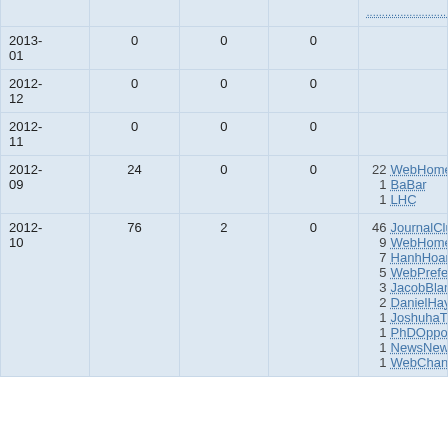| Date | Col2 | Col3 | Col4 | Top Pages |
| --- | --- | --- | --- | --- |
| 2013-01 | 0 | 0 | 0 |  |
| 2012-12 | 0 | 0 | 0 |  |
| 2012-11 | 0 | 0 | 0 |  |
| 2012-09 | 24 | 0 | 0 | 22 WebHome
1 BaBar
1 LHC |
| 2012-10 | 76 | 2 | 0 | 46 JournalClub
9 WebHome
7 HanhHoang
5 WebPreferences
3 JacobBlancoTutorials
2 DanielHaydenCodingTips
1 JoshuhaThomas-Wilsker
1 PhDOpportunities
1 NewsNewtonClusterMov
1 WebChanges |